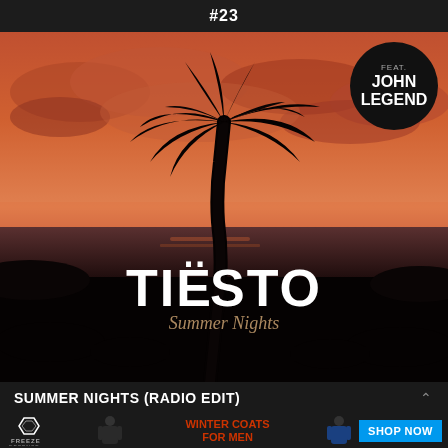#23
[Figure (illustration): Album art for Tiesto Summer Nights featuring a tropical sunset with palm tree silhouette, dark sky with orange and pink clouds, with a circular black badge reading 'feat. JOHN LEGEND' in the top right corner. The artist name TIESTO appears in large white bold text near the bottom, with cursive 'Summer Nights' script below it.]
SUMMER NIGHTS (RADIO EDIT)
[Figure (infographic): Advertisement banner for Freeze Defense Winter Coats For Men with 'SHOP NOW' button on the right side.]